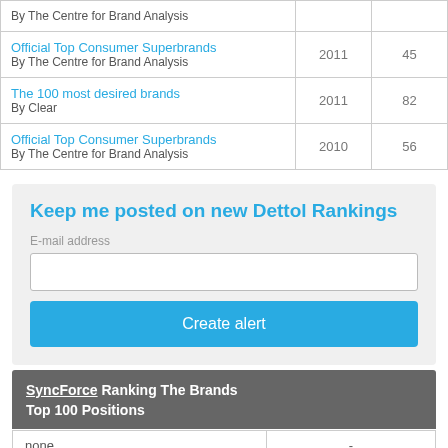| Ranking List | Year | Position |
| --- | --- | --- |
| Official Top Consumer Superbrands
By The Centre for Brand Analysis | 2011 | 45 |
| The 100 most desired brands
By Clear | 2011 | 82 |
| Official Top Consumer Superbrands
By The Centre for Brand Analysis | 2010 | 56 |
Keep me posted on new Dettol Rankings
E-mail address
Create alert
SyncForce Ranking The Brands
Top 100 Positions
| none | - |